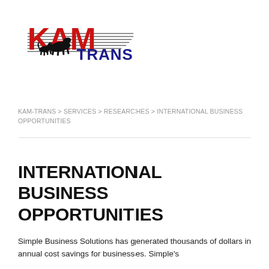[Figure (logo): KAM TRANS logo with red bold KAM letters, dark blue TRANS text, black silhouette of running horse and dog, horizontal lines forming wing shape]
KAM-TRANS > SERVICES > RESEARCHES > INTERNATIONAL BUSINESS OPPORTUNITIES
INTERNATIONAL BUSINESS OPPORTUNITIES
Simple Business Solutions has generated thousands of dollars in annual cost savings for businesses. Simple's